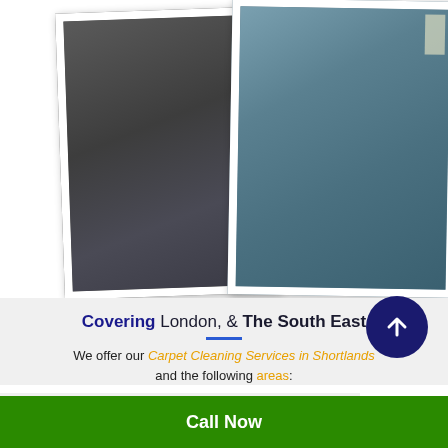[Figure (photo): Two photographs of cleaned carpets. Left photo shows a dark grey carpet. Right photo shows a blue-grey carpet in a room corner.]
Covering London, & The South East
We offer our Carpet Cleaning Services in Shortlands and the following areas:
London
Call Now